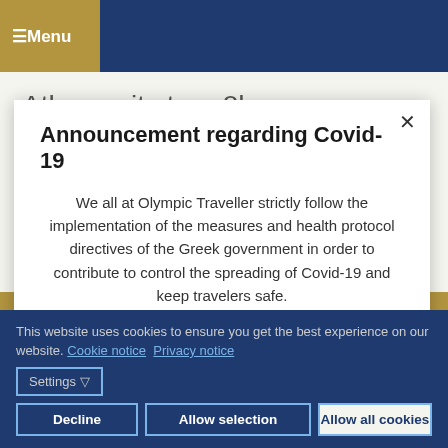≡Menu
Athens city tour 8h
Cost per person 35 euro. (Transportation + Athens city tour - licensed guidance on board + Free time)
Announcement regarding Covid-19
We all at Olympic Traveller strictly follow the implementation of the measures and health protocol directives of the Greek government in order to contribute to control the spreading of Covid-19 and keep travelers safe.
This website uses cookies to ensure you get the best experience on our website. Cookie notice   Privacy notice
Settings
Decline
Allow selection
Allow all cookies